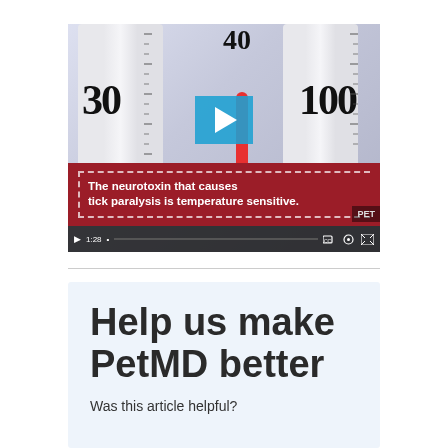[Figure (screenshot): Video player showing a close-up of two thermometers side by side. The thermometer on the left shows '30' and the one on the right shows '100', with a red mercury column visible. A blue play button is centered on the image. A dark red banner with dashed border overlay reads 'The neurotoxin that causes tick paralysis is temperature sensitive.' A PET badge appears in the bottom right. Video controls show 1:28 duration.]
Help us make PetMD better
Was this article helpful?